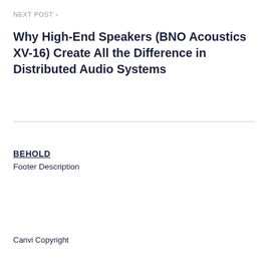NEXT POST >
Why High-End Speakers (BNO Acoustics XV-16) Create All the Difference in Distributed Audio Systems
BEHOLD
Footer Description
Canvi Copyright